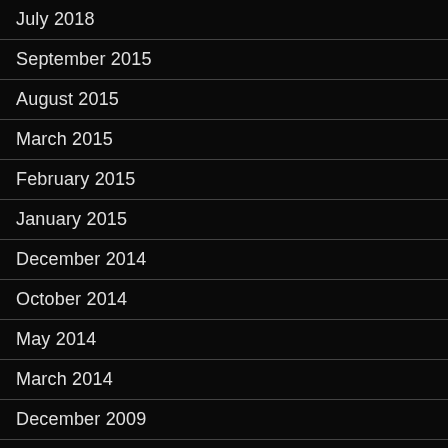July 2018
September 2015
August 2015
March 2015
February 2015
January 2015
December 2014
October 2014
May 2014
March 2014
December 2009
September 2008
July 2008